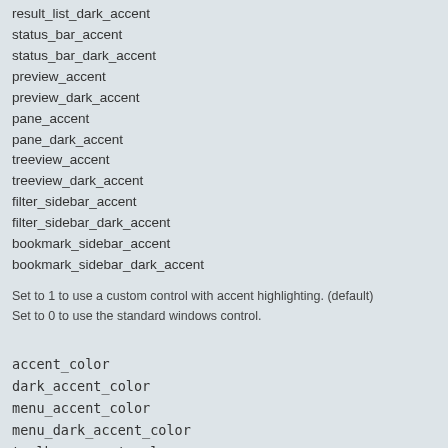result_list_dark_accent
status_bar_accent
status_bar_dark_accent
preview_accent
preview_dark_accent
pane_accent
pane_dark_accent
treeview_accent
treeview_dark_accent
filter_sidebar_accent
filter_sidebar_dark_accent
bookmark_sidebar_accent
bookmark_sidebar_dark_accent
Set to 1 to use a custom control with accent highlighting. (default)
Set to 0 to use the standard windows control.
accent_color
dark_accent_color
menu_accent_color
menu_dark_accent_color
toolbar_accent_color